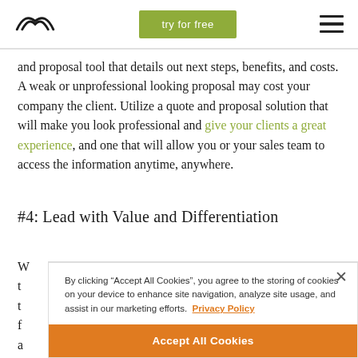[logo] try for free [hamburger menu]
and proposal tool that details out next steps, benefits, and costs. A weak or unprofessional looking proposal may cost your company the client. Utilize a quote and proposal solution that will make you look professional and give your clients a great experience, and one that will allow you or your sales team to access the information anytime, anywhere.
#4: Lead with Value and Differentiation
W
t
t
f
a
s

T
By clicking “Accept All Cookies”, you agree to the storing of cookies on your device to enhance site navigation, analyze site usage, and assist in our marketing efforts.  Privacy Policy
Accept All Cookies